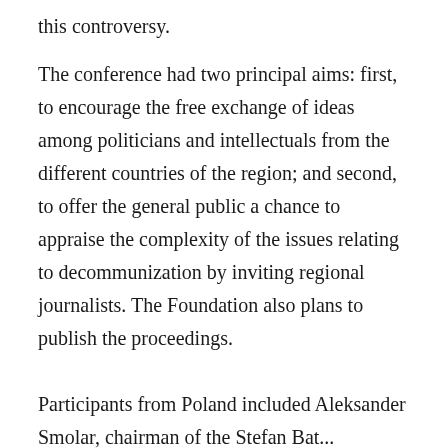this controversy.
The conference had two principal aims: first, to encourage the free exchange of ideas among politicians and intellectuals from the different countries of the region; and second, to offer the general public a chance to appraise the complexity of the issues relating to decommunization by inviting regional journalists. The Foundation also plans to publish the proceedings.
Participants from Poland included Aleksander Smolar, chairman of the Stefan Bat...